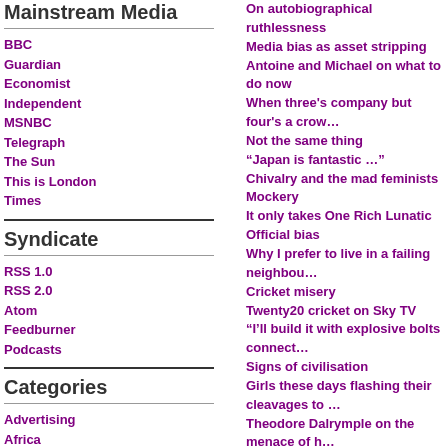Mainstream Media
BBC
Guardian
Economist
Independent
MSNBC
Telegraph
The Sun
This is London
Times
Syndicate
RSS 1.0
RSS 2.0
Atom
Feedburner
Podcasts
Categories
Advertising
Africa
Anglosphere
Architecture
On autobiographical ruthlessness
Media bias as asset stripping
Antoine and Michael on what to do now
When three's company but four's a crowd
Not the same thing
“Japan is fantastic …”
Chivalry and the mad feminists
Mockery
It only takes One Rich Lunatic
Official bias
Why I prefer to live in a failing neighbour…
Cricket misery
Twenty20 cricket on Sky TV
“I’ll build it with explosive bolts connect…
Signs of civilisation
Girls these days flashing their cleavages to …
Theodore Dalrymple on the menace of h…
He is white and he is poking fun at himse…
The white stuff
The robotic future
Holiday
Probably not right - but definitely written…
Chanelle and Ziggy - romance in the age…
The drive to see smiles (and they have to…
The publicness of private life
Voluntary World 3: Transport Blog illustr…
The idea that mental illness does not exi…
The rights and wrongs of multiple marria…
Cricket is ruining the youth of India!
Emmanuel Todd (5): A CrozierVision pod…
Emmanuel Todd (4): From ideology to ec…
Charm defensive